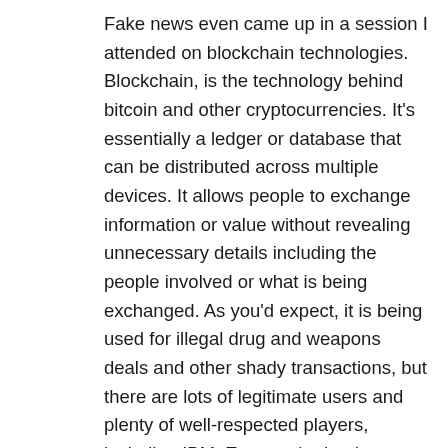Fake news even came up in a session I attended on blockchain technologies. Blockchain, is the technology behind bitcoin and other cryptocurrencies. It's essentially a ledger or database that can be distributed across multiple devices. It allows people to exchange information or value without revealing unnecessary details including the people involved or what is being exchanged. As you'd expect, it is being used for illegal drug and weapons deals and other shady transactions, but there are lots of legitimate users and plenty of well-respected players, including IBM. Even major banks are investigating blockchain as a way to create confidential ledgers for the way they account for funds.
Blockchain makes it possible to authenticate a transaction, a thing or a person without having to reveal details to other parties. Imagine if you had a